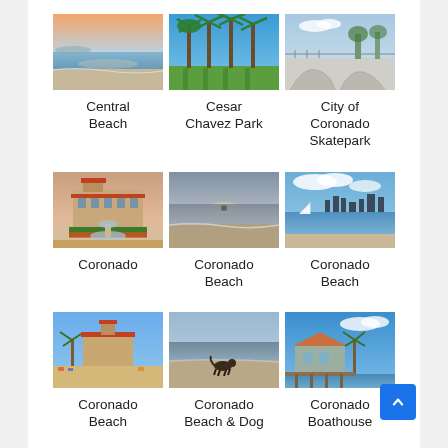[Figure (photo): Photo of Central Beach shoreline at sunset]
Central Beach
[Figure (photo): Photo of Cesar Chavez Park with palm trees and green lawn]
Cesar Chavez Park
[Figure (photo): Photo of City of Coronado Skatepark]
City of Coronado Skatepark
[Figure (photo): Photo of Coronado hotel with fountain and garden]
Coronado
[Figure (photo): Photo of Coronado Beach shoreline at dusk]
Coronado Beach
[Figure (photo): Photo of Coronado Beach with San Diego skyline in background]
Coronado Beach
[Figure (photo): Photo of Coronado Beach with Hotel del Coronado in background]
Coronado Beach
[Figure (photo): Photo of Coronado Beach & Dog Park with dog on beach]
Coronado Beach & Dog Park
[Figure (photo): Photo of Coronado Boathouse and marina]
Coronado Boathouse